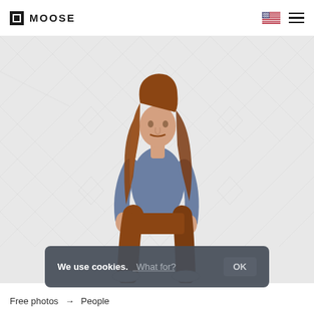MOOSE
[Figure (photo): A young man with long wavy auburn/red hair, wearing a blue long-sleeve sweatshirt and rust/brown corduroy trousers with white sneakers, standing in a three-quarter profile pose against a light grey watermarked background.]
We use cookies. What for? OK
Free photos → People